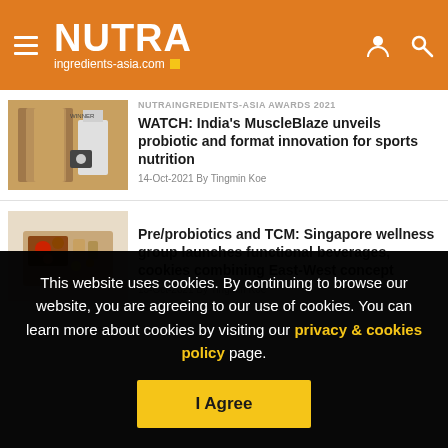NUTRA ingredients-asia.com
NUTRAINGREDIENTS-ASIA AWARDS 2021
WATCH: India's MuscleBlaze unveils probiotic and format innovation for sports nutrition
14-Oct-2021 By Tingmin Koe
Pre/probiotics and TCM: Singapore wellness group launches functional beverages, cookies combining East-West concept
13-Oct-2021 By Tingmin Koe
This website uses cookies. By continuing to browse our website, you are agreeing to our use of cookies. You can learn more about cookies by visiting our privacy & cookies policy page.
I Agree